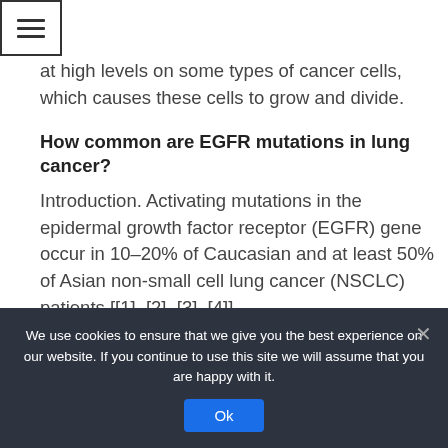[Figure (other): Hamburger menu icon (three horizontal lines) inside a square border]
at high levels on some types of cancer cells, which causes these cells to grow and divide.
How common are EGFR mutations in lung cancer?
Introduction. Activating mutations in the epidermal growth factor receptor (EGFR) gene occur in 10–20% of Caucasian and at least 50% of Asian non-small cell lung cancer (NSCLC) patients [[1], [2], [3], [4]].
Does y845 phosphorylation have
We use cookies to ensure that we give you the best experience on our website. If you continue to use this site we will assume that you are happy with it.